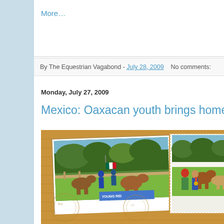More…
By The Equestrian Vagabond - July 28, 2009   No comments:
Monday, July 27, 2009
Mexico: Oaxacan youth brings home s
[Figure (photo): Blog post image showing two photos on a postcard-style golden/tan background. Left photo shows people with horses and a Mexican flag in front of a 'Young Riders Endurance' banner. Right photo shows group of people standing with horses in a field.]